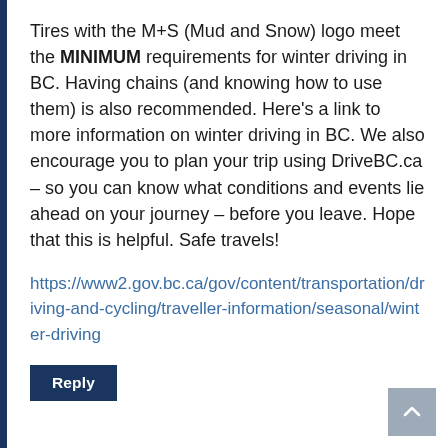Tires with the M+S (Mud and Snow) logo meet the MINIMUM requirements for winter driving in BC. Having chains (and knowing how to use them) is also recommended. Here’s a link to more information on winter driving in BC. We also encourage you to plan your trip using DriveBC.ca – so you can know what conditions and events lie ahead on your journey – before you leave. Hope that this is helpful. Safe travels!
https://www2.gov.bc.ca/gov/content/transportation/driving-and-cycling/traveller-information/seasonal/winter-driving